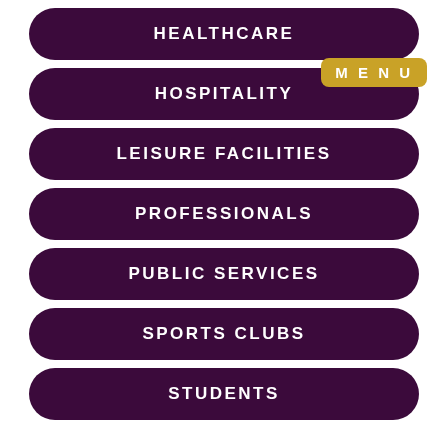HEALTHCARE
HOSPITALITY
LEISURE FACILITIES
PROFESSIONALS
PUBLIC SERVICES
SPORTS CLUBS
STUDENTS